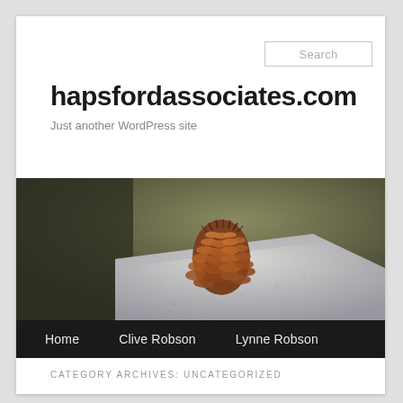Search
hapsfordassociates.com
Just another WordPress site
[Figure (photo): A brown pine cone sitting on top of a grey granite stone block, with a blurred green-brown background.]
Home   Clive Robson   Lynne Robson   Recommendations   Sample Page
CATEGORY ARCHIVES: UNCATEGORIZED